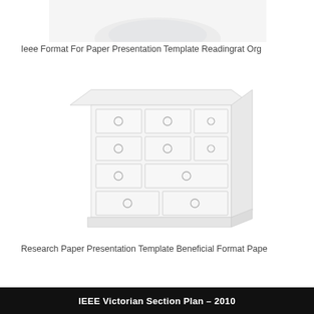[Figure (photo): Partial view of a white/light object at the top of the page, cropped]
Ieee Format For Paper Presentation Template Readingrat Org
[Figure (photo): A white dresser/chest of drawers with multiple drawers and round knobs, shown in a washed-out/faded white style]
Research Paper Presentation Template Beneficial Format Pape
[Figure (other): Black banner at bottom with white bold text reading: IEEE Victorian Section Plan – 2010]